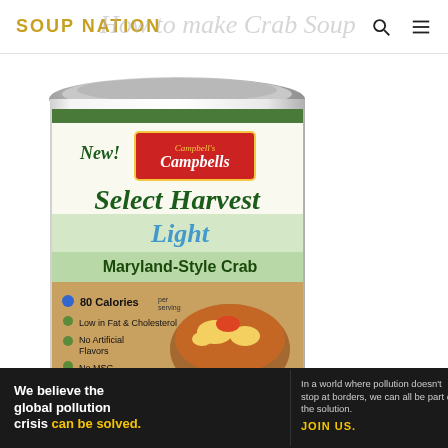SOUP NATION
How to make Crab Soup
[Figure (photo): Campbell's Select Harvest Light Maryland-Style Crab soup can. Label shows: New!, Campbell's logo in red, Select Harvest in dark green script, Light in blue script, Maryland-Style Crab in bold green text, 80 Calories per serving, Low in Fat & Cholesterol, No Artificial Flavors, No MSG. Can has metallic top and features a bowl of crab soup image.]
We believe the global pollution crisis can be solved.
In a world where pollution doesn't stop at borders, we can all be part of the solution.
JOIN US.
PURE EARTH